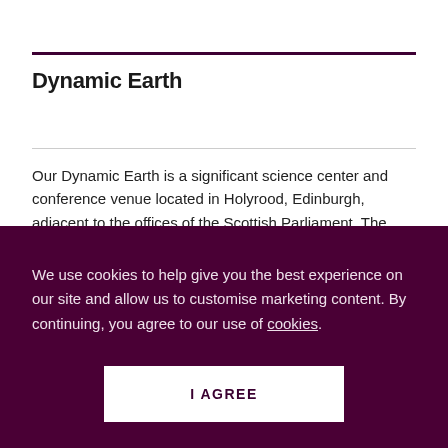Dynamic Earth
Our Dynamic Earth is a significant science center and conference venue located in Holyrood, Edinburgh, adjacent to the offices of the Scottish Parliament. The center was opened in 1999 as one of the first and most significant projects supported by the UK Millennium Commission. The project was the centerpiece of an urban regeneration plan
We use cookies to help give you the best experience on our site and allow us to customise marketing content. By continuing, you agree to our use of cookies.
I AGREE